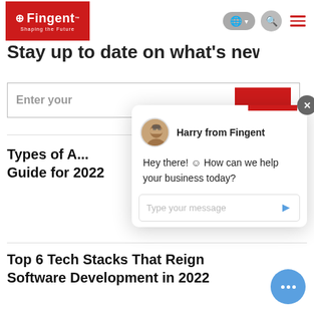Fingent - Shaping the Future (navigation bar with logo, globe selector, search, and menu)
Stay up to date on what's new
Enter your [email]
Types of A... Guide for 2022
[Figure (screenshot): Chat popup from Harry from Fingent with message: Hey there! How can we help your business today? and a Type your message input field.]
Top 6 Tech Stacks That Reign Software Development in 2022